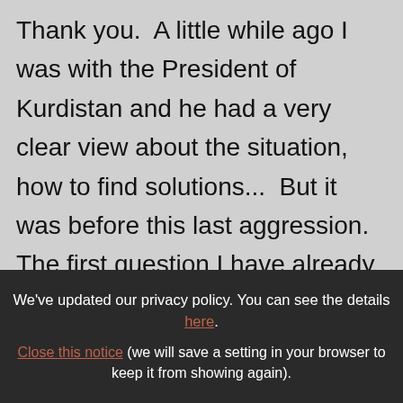Thank you.  A little while ago I was with the President of Kurdistan and he had a very clear view about the situation, how to find solutions...  But it was before this last aggression.  The first question I have already answered: I agree that when there is in fact an unjust aggressor, he must be stopped.  Yes, I am open to the idea, but I think I can say this: when my collaborators and I heard about the plight of the religious minorities, and the problem, at that time, of Kurdistan, which
We've updated our privacy policy. You can see the details here. Close this notice (we will save a setting in your browser to keep it from showing again).